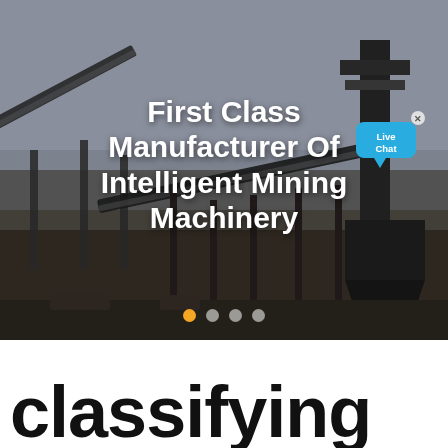[Figure (photo): Industrial mining facility with conveyor belts and steel structures under a hazy sky. Hero banner image for a mining machinery manufacturer website.]
First Class Manufacturer Of Intelligent Mining Machinery
[Figure (illustration): Live Chat speech bubble widget with blue background and white text reading 'Live Chat', with a close (x) button.]
classifying